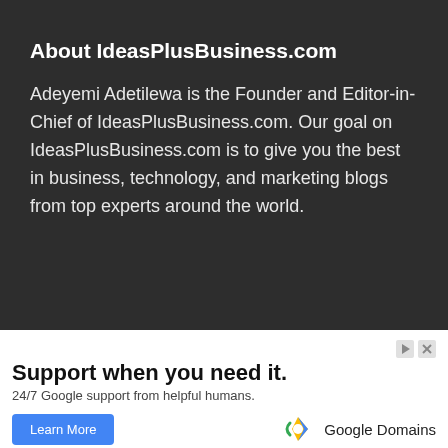About IdeasPlusBusiness.com
Adeyemi Adetilewa is the Founder and Editor-in-Chief of IdeasPlusBusiness.com. Our goal on IdeasPlusBusiness.com is to give you the best in business, technology, and marketing blogs from top experts around the world.
[Figure (infographic): Google Domains advertisement: 'Support when you need it. 24/7 Google support from helpful humans.' with a Learn More button and Google Domains logo.]